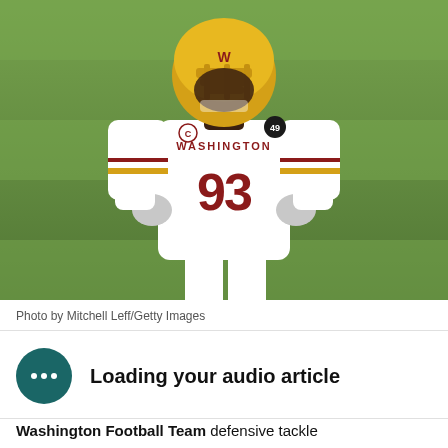[Figure (photo): Washington Football Team player wearing white jersey with number 93, gold helmet with face mask, gloves, standing on green field. Jersey reads WASHINGTON with a captain's C patch and number 49 patch.]
Photo by Mitchell Leff/Getty Images
Loading your audio article
Washington Football Team defensive tackle